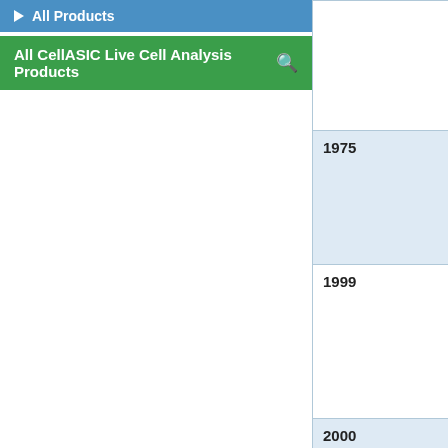All Products
All CellASIC Live Cell Analysis Products
| Year | Description |
| --- | --- |
|  | transparent w... The Nomarsk surface detail... Read Nomars... |
| 1975 | Robert Hoffm... phase gradie... optical amplit... for even more... Learn more a... |
| 1999 | Improved digi... accomplished... the brightfield... The technique... Click here for... contrast imag... |
| 2000 | Today, improv... lapse microsc... interactions w... |